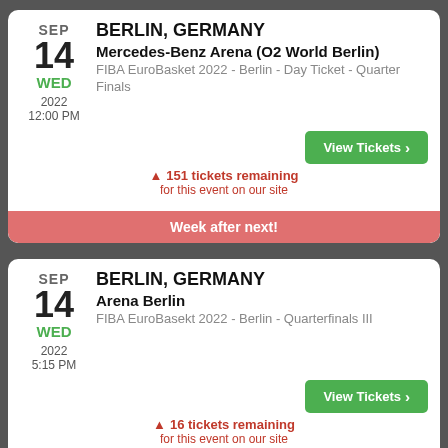BERLIN, GERMANY
Mercedes-Benz Arena (O2 World Berlin)
FIBA EuroBasket 2022 - Berlin - Day Ticket - Quarter Finals
SEP 14 WED 2022 12:00 PM
View Tickets
151 tickets remaining for this event on our site
Week after next!
BERLIN, GERMANY
Arena Berlin
FIBA EuroBasekt 2022 - Berlin - Quarterfinals III
SEP 14 WED 2022 5:15 PM
View Tickets
16 tickets remaining for this event on our site
Week after next!